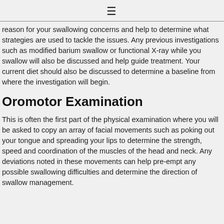≡
reason for your swallowing concerns and help to determine what strategies are used to tackle the issues. Any previous investigations such as modified barium swallow or functional X-ray while you swallow will also be discussed and help guide treatment. Your current diet should also be discussed to determine a baseline from where the investigation will begin.
Oromotor Examination
This is often the first part of the physical examination where you will be asked to copy an array of facial movements such as poking out your tongue and spreading your lips to determine the strength, speed and coordination of the muscles of the head and neck. Any deviations noted in these movements can help pre-empt any possible swallowing difficulties and determine the direction of swallow management.